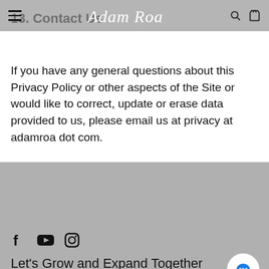Adam Roa — navigation bar with hamburger, logo, search and bag icons
13. Contact Us
If you have any general questions about this Privacy Policy or other aspects of the Site or would like to correct, update or erase data provided to us, please email us at privacy at adamroa dot com.
[Figure (other): Social media icons: Facebook, YouTube, Instagram]
Let's Grow and Expand Together
I send inspiration straight to your inbox Monday mornings.